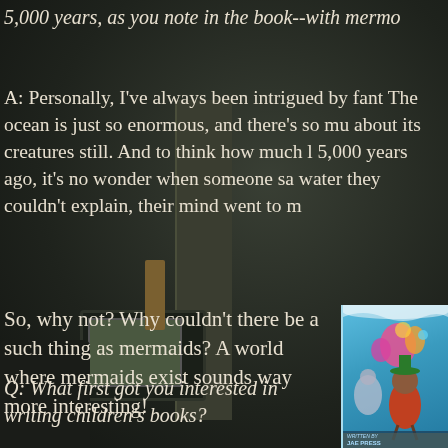5,000 years, as you note in the book--with mermo...
A: Personally, I've always been intrigued by fant... The ocean is just so enormous, and there's so mu... about its creatures still. And to think how much l... 5,000 years ago, it's no wonder when someone sa... water they couldn't explain, their mind went to m...
So, why not? Why couldn't there be a such thing as mermaids? A world where mermaids exist sounds way more interesting!
Q: What first got you interested in writing children's books?
[Figure (illustration): Book cover illustration showing a colorful children's book with a character and underwater/garden scene on a bright blue background, with text 'WRITTEN BY JAE PRESS' at the bottom]